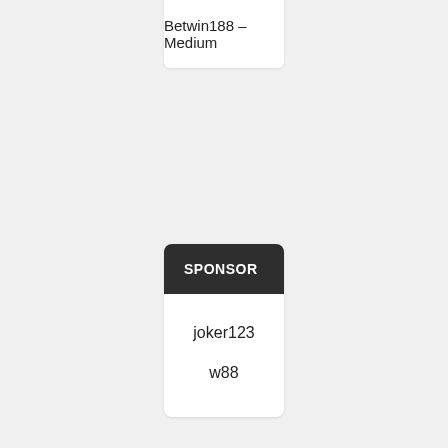Betwin188 – Medium
SPONSOR
joker123
w88
Search …